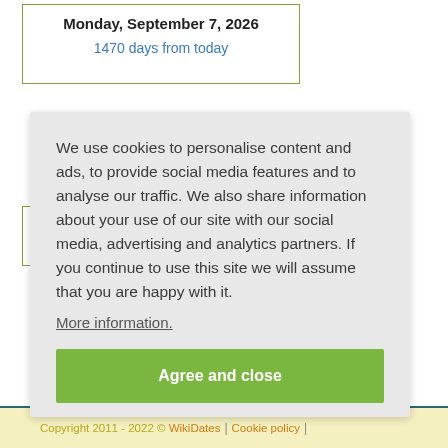Monday, September 7, 2026
1470 days from today
We use cookies to personalise content and ads, to provide social media features and to analyse our traffic. We also share information about your use of our site with our social media, advertising and analytics partners. If you continue to use this site we will assume that you are happy with it.
More information.
Agree and close
Copyright 2011 - 2022 © WikiDates | Cookie policy |